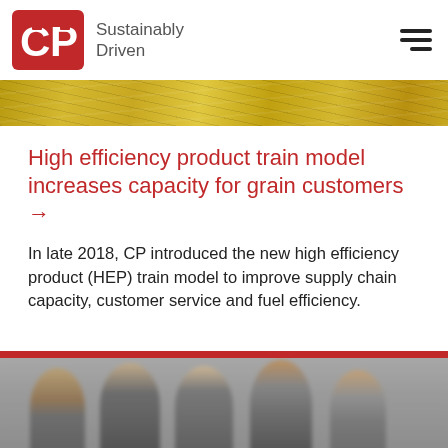CP Sustainably Driven
[Figure (photo): Aerial view of yellow grain/canola field]
High efficiency product train model increases capacity for grain customers →
In late 2018, CP introduced the new high efficiency product (HEP) train model to improve supply chain capacity, customer service and fuel efficiency.
[Figure (photo): Group of people, appears to be employees or professionals in an office or meeting setting]